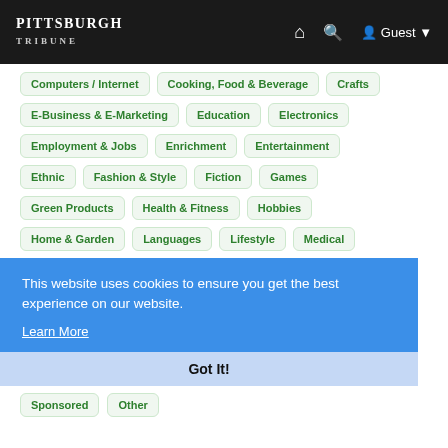PITTSBURGH TRIBUNE
Computers / Internet
Cooking, Food & Beverage
Crafts
E-Business & E-Marketing
Education
Electronics
Employment & Jobs
Enrichment
Entertainment
Ethnic
Fashion & Style
Fiction
Games
Green Products
Health & Fitness
Hobbies
Home & Garden
Languages
Lifestyle
Medical
This website uses cookies to ensure you get the best experience on our website.
Learn More
Got It!
Sponsored
Other